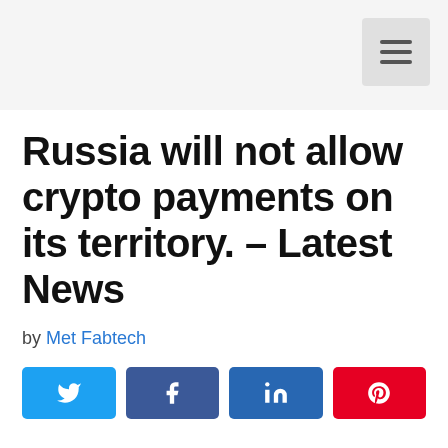Russia will not allow crypto payments on its territory. – Latest News
by Met Fabtech
[Figure (other): Social share buttons: Twitter, Facebook, LinkedIn, Pinterest]
Russia has clarified its position after its recent announcement on permission